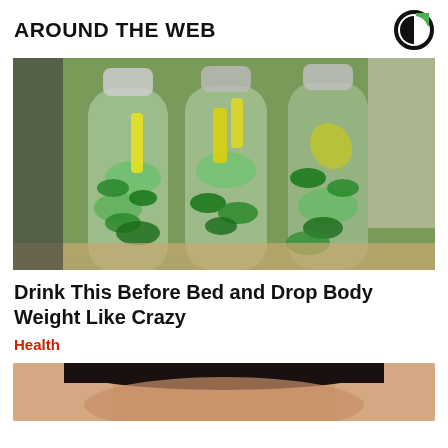AROUND THE WEB
[Figure (photo): Three glass bottles filled with infused water containing cucumber slices, lemon slices, and green mint leaves, placed on a kitchen counter]
Drink This Before Bed and Drop Body Weight Like Crazy
Health
[Figure (photo): Partial view of a person's face with dark hair, cropped at the bottom of the page]